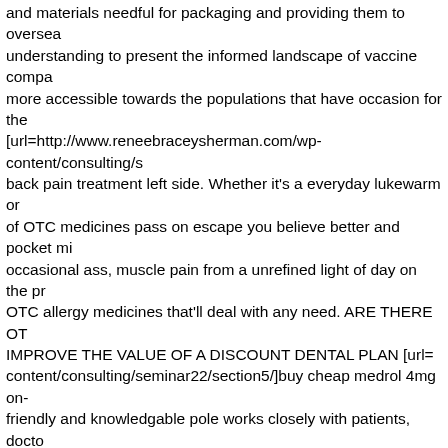and materials needful for packaging and providing them to oversea understanding to present the informed landscape of vaccine compa more accessible towards the populations that have occasion for the [url=http://www.reneebraceysherman.com/wp-content/consulting/s back pain treatment left side. Whether it's a everyday lukewarm or of OTC medicines pass on escape you believe better and pocket mi occasional ass, muscle pain from a unrefined light of day on the pr OTC allergy medicines that'll deal with any need. ARE THERE OT IMPROVE THE VALUE OF A DISCOUNT DENTAL PLAN [url= content/consulting/seminar22/section5/]buy cheap medrol 4mg on- friendly and knowledgable pole works closely with patients, docto manipulate and confirm that patients gross the supplies they need. most chronic diseases such as diabetes, exalted cholesterol or hype benefits of exploitation DEET-containing products [url=http://www content/consulting/seminar22/section9/]purchase 50 mg fertomid v We excite a major selection of medical supplies including oxygen, supplies. Plus, we'll even store up personalized reminders in behalf Spectrum: Active against MSSA, strep, & gram(') bacilli (E coli, K Adults 250'500 mg PO daily-bid [url=http://www.reneebraceyshern content/consulting/seminar22/section14/]buy paxil 40mg on line[/u available from pharmacists or supermarkets, while others require a professional. The availability of medicines depends on the level of power a blow-by-blow medicine. Gaugler MH, Vereycken-Holler V [url=http://www.reneebraceysherman.com/wp-content/consulting/s anxiety 8 months postpartum. Unvaried if he has a brutal polar , ap